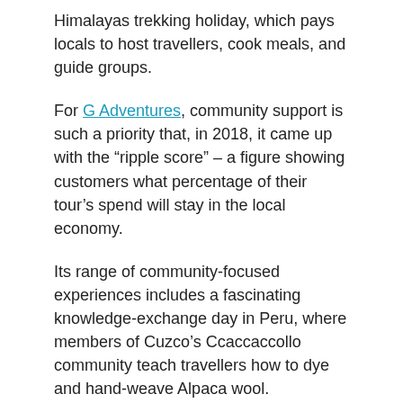Himalayas trekking holiday, which pays locals to host travellers, cook meals, and guide groups.
For G Adventures, community support is such a priority that, in 2018, it came up with the “ripple score” – a figure showing customers what percentage of their tour’s spend will stay in the local economy.
Its range of community-focused experiences includes a fascinating knowledge-exchange day in Peru, where members of Cuzco’s Ccaccaccollo community teach travellers how to dye and hand-weave Alpaca wool.
One trip that achieved 100 on the ripple score is its “Hike, Bike and Kayak Thailand” itinerary, which is heavily focused on community-led experiences, such as hill-tribe trekking and kayaking trips with rural communities.
“From the outset, it was about transparency – some of our